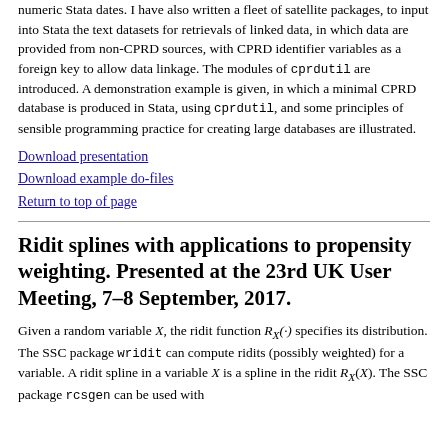numeric Stata dates. I have also written a fleet of satellite packages, to input into Stata the text datasets for retrievals of linked data, in which data are provided from non-CPRD sources, with CPRD identifier variables as a foreign key to allow data linkage. The modules of cprdutil are introduced. A demonstration example is given, in which a minimal CPRD database is produced in Stata, using cprdutil, and some principles of sensible programming practice for creating large databases are illustrated.
Download presentation
Download example do-files
Return to top of page
Ridit splines with applications to propensity weighting. Presented at the 23rd UK User Meeting, 7–8 September, 2017.
Given a random variable X, the ridit function R_X(·) specifies its distribution. The SSC package wridit can compute ridits (possibly weighted) for a variable. A ridit spline in a variable X is a spline in the ridit R_X(X). The SSC package rcsgen can be used with...